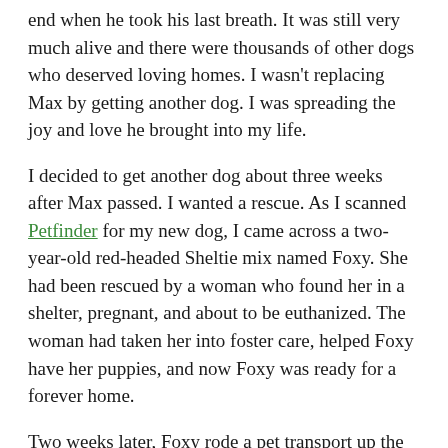end when he took his last breath. It was still very much alive and there were thousands of other dogs who deserved loving homes. I wasn't replacing Max by getting another dog. I was spreading the joy and love he brought into my life.
I decided to get another dog about three weeks after Max passed. I wanted a rescue. As I scanned Petfinder for my new dog, I came across a two-year-old red-headed Sheltie mix named Foxy. She had been rescued by a woman who found her in a shelter, pregnant, and about to be euthanized. The woman had taken her into foster care, helped Foxy have her puppies, and now Foxy was ready for a forever home.
Two weeks later, Foxy rode a pet transport up the East Coast with other dogs who had found families in New England. She was home. The first thing I noticed was she had energy. Compared to Max, who had slowed down considerably in his last few years, Foxy was ready to power a city with all her extra energy!